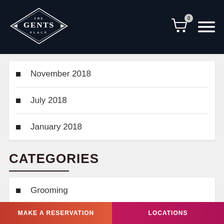[Figure (logo): The Gents Place logo — diamond shape with arrows, white text on dark background]
November 2018
July 2018
January 2018
CATEGORIES
Grooming
Press
MAKE A RESERVATION   LOCATIONS